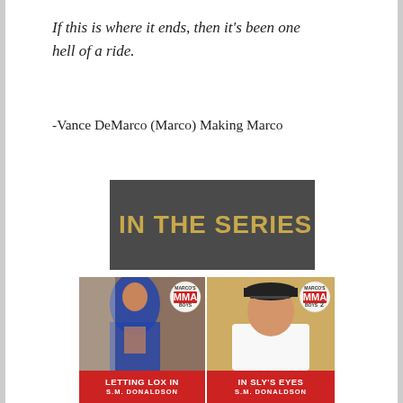If this is where it ends, then it's been one hell of a ride.
-Vance DeMarco (Marco) Making Marco
[Figure (other): Dark gray banner with bold gold text reading 'IN THE SERIES']
[Figure (other): Two book covers side by side from Marco's MMA Boys series by S.M. Donaldson. Left cover: 'Letting Lox In' showing a shirtless man in a blue hoodie. Right cover: 'In Sly's Eyes' showing a young man in a white t-shirt and black cap. Both covers have a red bottom bar with title and author name, and a circular MMA badge in top right.]